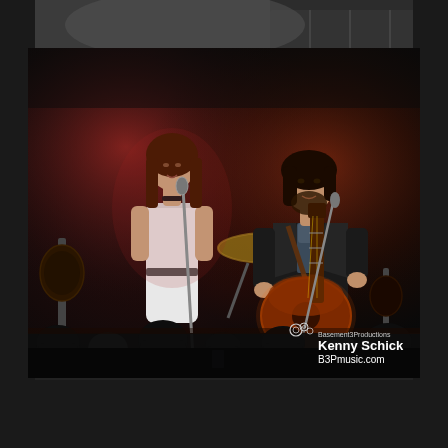[Figure (photo): Concert photograph showing two performers on stage. On the left, a woman in a white dress sings into a microphone. On the right, a man with dark hair and beard plays an acoustic guitar. The stage is lit with warm reddish-amber lighting. Drums and cymbals are visible in the background. Silhouettes of audience members are at the bottom. The image is bordered by a dark blurred background photo. A watermark in the bottom right reads 'Basement3Productions / Kenny Schick / B3Pmusic.com'.]